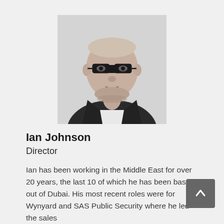[Figure (photo): Black and white headshot photo of Ian Johnson, a man wearing glasses and a dark suit jacket with an open-collar shirt.]
Ian Johnson
Director
Ian has been working in the Middle East for over 20 years, the last 10 of which he has been based out of Dubai. His most recent roles were for Wynyard and SAS Public Security where he led the sales